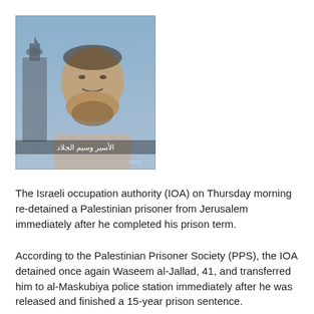[Figure (photo): A grainy photo of a Palestinian man overlaid with an image of a mosque or religious building. Arabic text appears at the bottom of the image along with a small logo.]
The Israeli occupation authority (IOA) on Thursday morning re-detained a Palestinian prisoner from Jerusalem immediately after he completed his prison term.
According to the Palestinian Prisoner Society (PPS), the IOA detained once again Waseem al-Jallad, 41, and transferred him to al-Maskubiya police station immediately after he was released and finished a 15-year prison sentence.
PPS described the detention of Jerusalemite prisoners following their release upon completion of their sentences as a policy pursued by